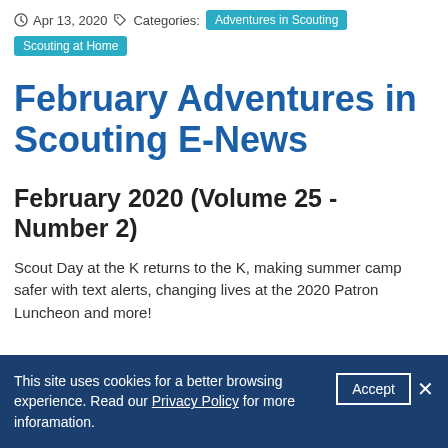Apr 13, 2020  Categories: Adventures in Scouting  Scouting at Home
February Adventures in Scouting E-News
February 2020 (Volume 25 - Number 2)
Scout Day at the K returns to the K, making summer camp safer with text alerts, changing lives at the 2020 Patron Luncheon and more!
This site uses cookies for a better browsing experience. Read our Privacy Policy for more inforamation.